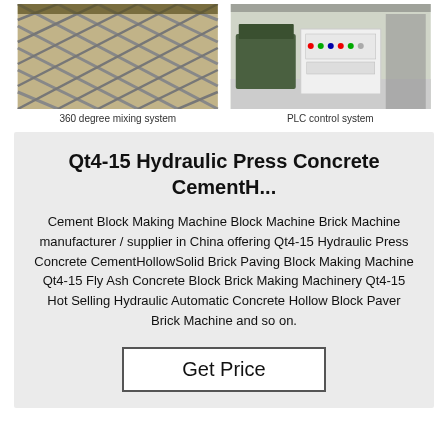[Figure (photo): 360 degree mixing system — industrial machinery with diamond/cross-hatch frame structure]
360 degree mixing system
[Figure (photo): PLC control system — white control panel console in industrial setting]
PLC control system
Qt4-15 Hydraulic Press Concrete CementH...
Cement Block Making Machine Block Machine Brick Machine manufacturer / supplier in China offering Qt4-15 Hydraulic Press Concrete CementHollowSolid Brick Paving Block Making Machine Qt4-15 Fly Ash Concrete Block Brick Making Machinery Qt4-15 Hot Selling Hydraulic Automatic Concrete Hollow Block Paver Brick Machine and so on.
Get Price